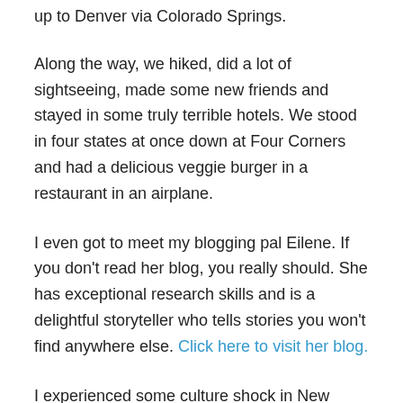up to Denver via Colorado Springs.
Along the way, we hiked, did a lot of sightseeing, made some new friends and stayed in some truly terrible hotels. We stood in four states at once down at Four Corners and had a delicious veggie burger in a restaurant in an airplane.
I even got to meet my blogging pal Eilene. If you don't read her blog, you really should. She has exceptional research skills and is a delightful storyteller who tells stories you won't find anywhere else. Click here to visit her blog.
I experienced some culture shock in New Mexico and Arizona – a region that couldn't be any more different than my southern Ohio home. There were some unusual wildlife encounters and a few truly strange but memorable